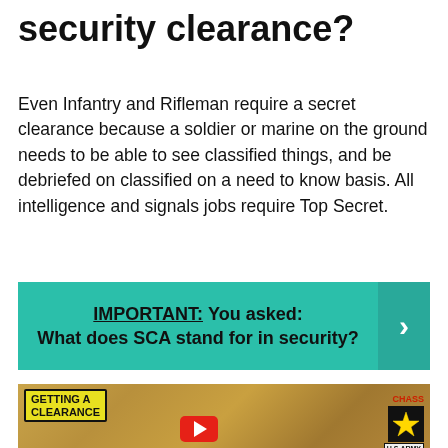security clearance?
Even Infantry and Rifleman require a secret clearance because a soldier or marine on the ground needs to be able to see classified things, and be debriefed on classified on a need to know basis. All intelligence and signals jobs require Top Secret.
IMPORTANT: You asked: What does SCA stand for in security?
[Figure (screenshot): YouTube video thumbnail showing 'Getting a Clearance' title with a soldier photo, Chaos star badge, U.S. Army and Veteran labels on a wooden background, with a YouTube play button.]